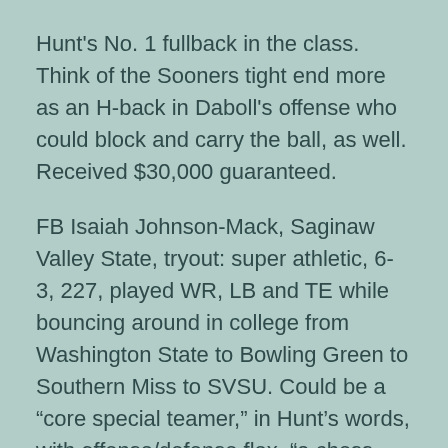Hunt's No. 1 fullback in the class. Think of the Sooners tight end more as an H-back in Daboll's offense who could block and carry the ball, as well. Received $30,000 guaranteed.
FB Isaiah Johnson-Mack, Saginaw Valley State, tryout: super athletic, 6-3, 227, played WR, LB and TE while bouncing around in college from Washington State to Bowling Green to Southern Miss to SVSU. Could be a “core special teamer,” in Hunt’s words, with offense/defense flex, “a chess piece on game day.”